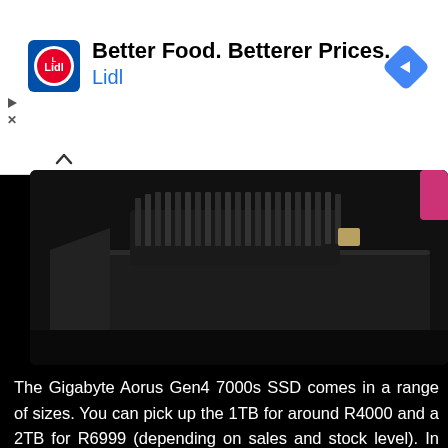[Figure (other): Lidl advertisement banner with Lidl logo, text 'Better Food. Betterer Prices. Lidl' and a navigation arrow icon]
[Figure (photo): Close-up photo of a Gigabyte Aorus Gen4 7000s SSD installed in or near a PS5 console, showing the black device with heat sink fins visible]
The Gigabyte Aorus Gen4 7000s SSD comes in a range of sizes. You can pick up the 1TB for around R4000 and a 2TB for R6999 (depending on sales and stock level). In the US, this SSD costs $184 and $359 respectively. When you buy it, that's all you need. If you are purchasing it for your PS5, it has the